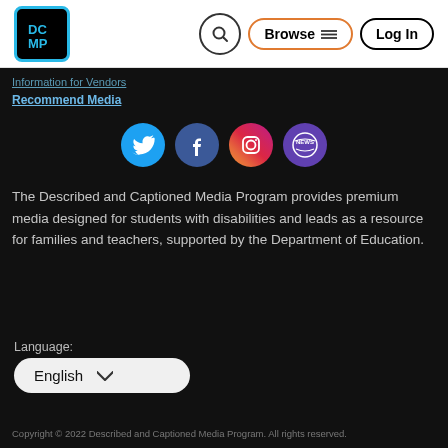DCMP | Browse | Log In
Information for Vendors
Recommend Media
[Figure (illustration): Social media icons: Twitter (blue), Facebook (dark blue), Instagram (orange gradient), News (purple)]
The Described and Captioned Media Program provides premium media designed for students with disabilities and leads as a resource for families and teachers, supported by the Department of Education.
Language:
English
Copyright © 2022 Described and Captioned Media Program. All rights reserved.